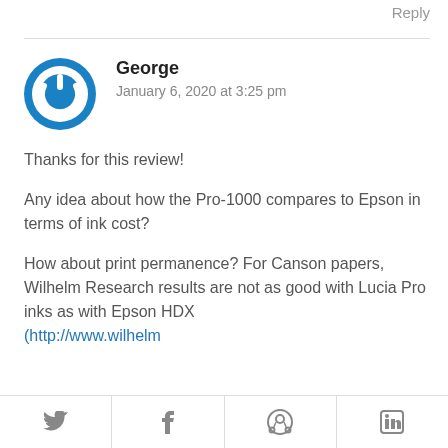Reply
[Figure (illustration): Blue circular power button icon avatar]
George
January 6, 2020 at 3:25 pm
Thanks for this review!
Any idea about how the Pro-1000 compares to Epson in terms of ink cost?
How about print permanence? For Canson papers, Wilhelm Research results are not as good with Lucia Pro inks as with Epson HDX (http://www.wilhelm
[Figure (infographic): Social sharing bar with Twitter, Facebook, Pinterest, and LinkedIn icons]